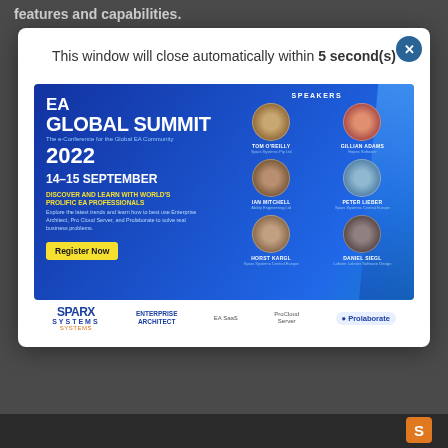features and capabilities.
This window will close automatically within 5 second(s)
[Figure (infographic): EA Global Summit 2022 advertisement banner showing event details (14-15 September), speaker photos (Tom O'Reilly, Gillian Adams, Ian Mitchell, Peter Lieber, Horst Kargl, Daniel Siegl), and sponsor logos (Sparx Systems, Enterprise Architect, EA SaaS, ProCloud Server, Prolaborate).]